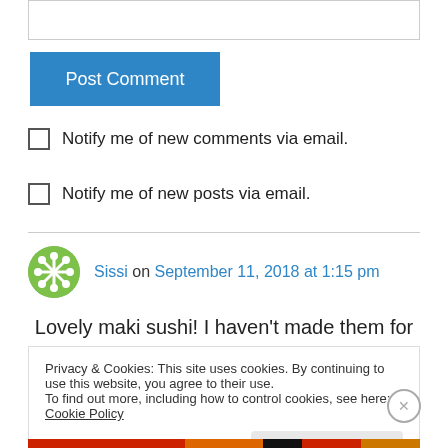[Figure (other): Text input box at the top of the page]
Post Comment
Notify me of new comments via email.
Notify me of new posts via email.
Sissi on September 11, 2018 at 1:15 pm
Lovely maki sushi! I haven't made them for
Privacy & Cookies: This site uses cookies. By continuing to use this website, you agree to their use.
To find out more, including how to control cookies, see here: Cookie Policy
Close and accept